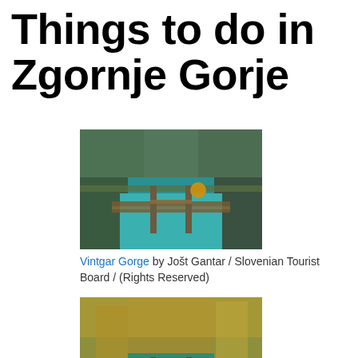Things to do in Zgornje Gorje
[Figure (photo): Vintgar Gorge with wooden boardwalk over teal river between rocky cliffs, person in yellow jacket standing on bridge]
Vintgar Gorge by Jošt Gantar / Slovenian Tourist Board / (Rights Reserved)
[Figure (photo): Vintgar Gorge with wooden boardwalk over teal-green river surrounded by yellow and green autumn foliage]
Vintgar Gorge by Jošt Gantar / Slovenian Tourist Board / (Rights Reserved)
[Figure (photo): Vintgar Gorge with orange and red autumn foliage, partially visible at bottom of page]